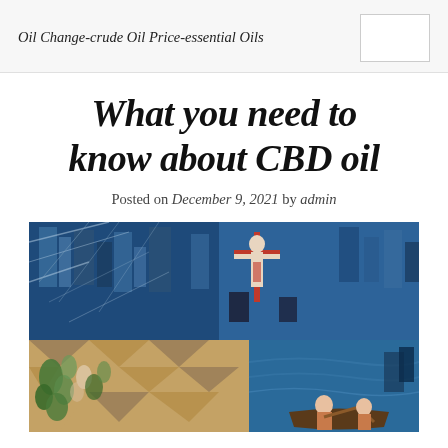Oil Change-crude Oil Price-essential Oils
What you need to know about CBD oil
Posted on December 9, 2021 by admin
[Figure (illustration): Abstract painting with blue, red, brown, and green tones depicting urban and natural scenes. Upper portion shows a crucifixion figure in red against a blue cubist cityscape. Lower left shows green foliage and yellow-brown geometric shapes. Lower right shows a figure in a boat.]